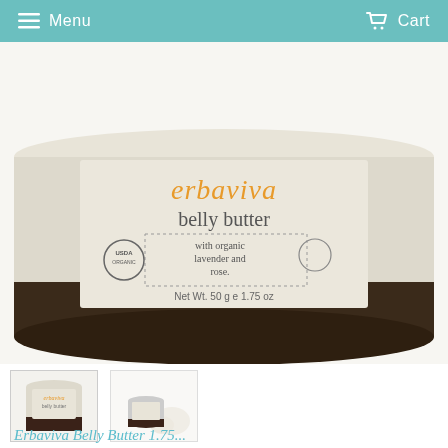Menu  Cart
[Figure (photo): Close-up of Erbaviva belly butter jar label showing brand name 'erbaviva', product name 'belly butter', USDA Organic seal, text 'with organic lavender and rose.', and net weight 'Net Wt. 50g  e 1.75 oz']
[Figure (photo): Thumbnail of full Erbaviva belly butter jar, front view]
[Figure (photo): Thumbnail showing Erbaviva belly butter jar with white roses on a white background]
Erbaviva Belly Butter 1.75...